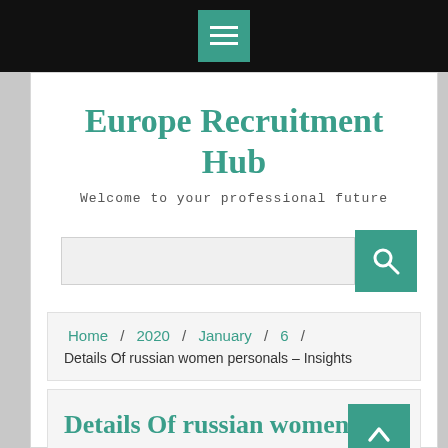[Figure (screenshot): Black navigation bar with teal hamburger menu button icon]
Europe Recruitment Hub
Welcome to your professional future
[Figure (screenshot): Teal search button with magnifying glass icon]
Home / 2020 / January / 6 / Details Of russian women personals – Insights
Details Of russian women personals – Insights